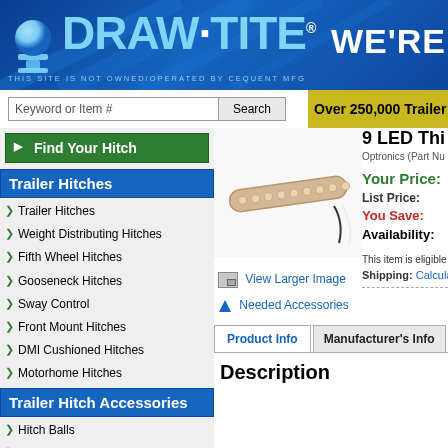[Figure (logo): Draw-Tite logo on blue gradient header background with 'WE'RE' text on right]
THIS SITE IS NOT OWNED/OPERATED BY CEQUENT MFG
Keyword or Item #
Search
Over 250,000 Trailer H
Find Your Hitch
Trailer Hitches
Trailer Hitches
Weight Distributing Hitches
Fifth Wheel Hitches
Gooseneck Hitches
Sway Control
Front Mount Hitches
DMI Cushioned Hitches
Motorhome Hitches
Trailer Hitch Accessories
Hitch Balls
Utility Ball Mounts
Specialty Ball Mounts
Locks, Pins & Clips
Towing Starter Kits
Hitch Tube Covers
Pintle Hooks & Lunette Rings
Extensions, Adapters &
[Figure (photo): Product photo of a 9 LED thin light bar strip, light tan/beige colored with wire leads]
View Larger Image
Needed Accessories
9 LED Thi
Optronics (Part Nu
Your Price:
List Price:
You Save:
Availability:
This item is eligible
Shipping: Calculato
Product Info
Manufacturer's Info
Description